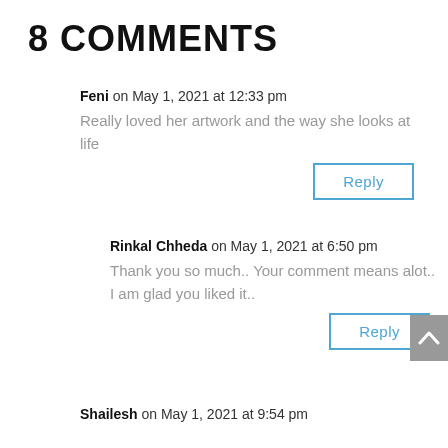8 COMMENTS
Feni on May 1, 2021 at 12:33 pm
Really loved her artwork and the way she looks at life
Reply
Rinkal Chheda on May 1, 2021 at 6:50 pm
Thank you so much.. Your comment means alot..
I am glad you liked it..
Reply
Shailesh on May 1, 2021 at 9:54 pm